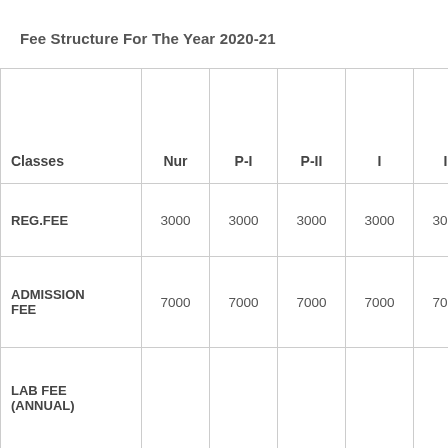Fee Structure For The Year 2020-21
| Classes | Nur | P-I | P-II | I | II | III |
| --- | --- | --- | --- | --- | --- | --- |
| REG.FEE | 3000 | 3000 | 3000 | 3000 | 3000 | 3000 |
| ADMISSION FEE | 7000 | 7000 | 7000 | 7000 | 7000 | 7000 |
| LAB FEE (ANNUAL) |  |  |  |  |  |  |
| TOTAL | 10000 | 10000 | 10000 | 10000 | 10000 | 10000 |
| TUTION FEE | 2350 | 2350 | 2350 | 2350 | 2350 | 2350 |